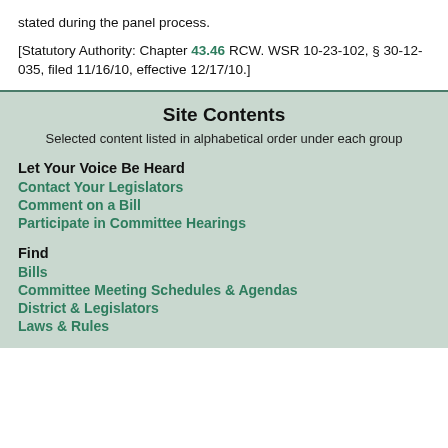stated during the panel process.
[Statutory Authority: Chapter 43.46 RCW. WSR 10-23-102, § 30-12-035, filed 11/16/10, effective 12/17/10.]
Site Contents
Selected content listed in alphabetical order under each group
Let Your Voice Be Heard
Contact Your Legislators
Comment on a Bill
Participate in Committee Hearings
Find
Bills
Committee Meeting Schedules & Agendas
District & Legislators
Laws & Rules